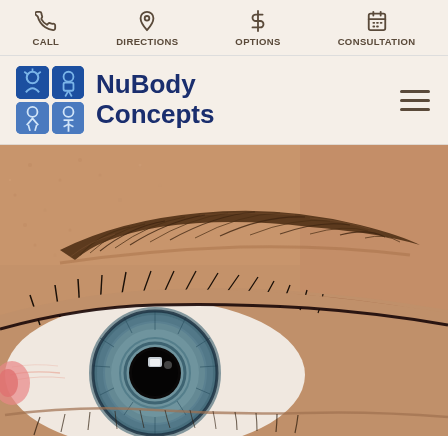CALL | DIRECTIONS | OPTIONS | CONSULTATION
[Figure (logo): NuBody Concepts logo with four blue squares containing stylized figures and text 'NuBody Concepts']
[Figure (photo): Close-up macro photograph of a human eye with blue-green iris and brown eyebrow, skin texture visible]